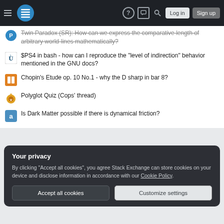Stack Exchange navigation header with hamburger menu, logo, help, chat, search, Log in, Sign up
Twin Paradox (SR): How can we express the comparative length of arbitrary world-lines mathematically?
$PS4 in bash - how can I reproduce the "level of indirection" behavior mentioned in the GNU docs?
Chopin's Etude op. 10 No.1 - why the D sharp in bar 8?
Polyglot Quiz (Cops' thread)
Is Dark Matter possible if there is dynamical friction?
A seemingly trivial property of differentiable functions
Question feed
Your privacy
By clicking "Accept all cookies", you agree Stack Exchange can store cookies on your device and disclose information in accordance with our Cookie Policy.
Accept all cookies | Customize settings